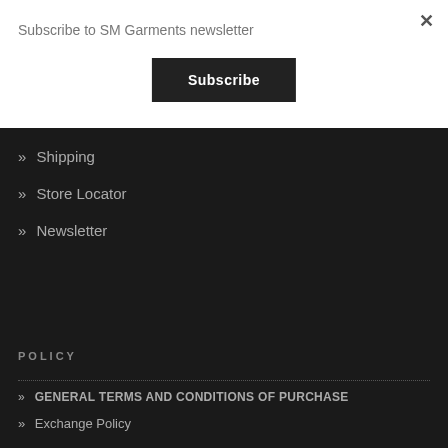Subscribe to SM Garments newsletter
×
Subscribe
» Shipping
» Store Locator
» Newsletter
POLICY
» GENERAL TERMS AND CONDITIONS OF PURCHASE
» Exchange Policy